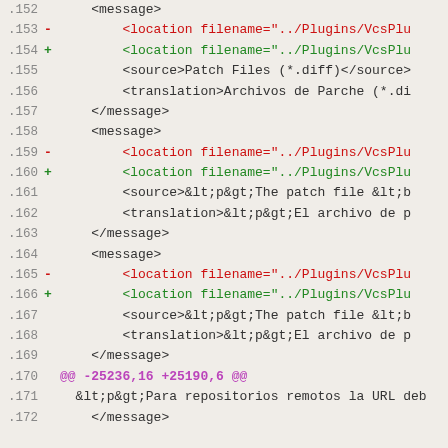Code diff view showing lines 152-172 of an XML translation file
.152     <message>
.153 -       <location filename="../Plugins/VcsPlu
.154 +       <location filename="../Plugins/VcsPlu
.155         <source>Patch Files (*.diff)</source>
.156         <translation>Archivos de Parche (*.di
.157     </message>
.158     <message>
.159 -       <location filename="../Plugins/VcsPlu
.160 +       <location filename="../Plugins/VcsPlu
.161         <source>&lt;p&gt;The patch file &lt;b
.162         <translation>&lt;p&gt;El archivo de p
.163     </message>
.164     <message>
.165 -       <location filename="../Plugins/VcsPlu
.166 +       <location filename="../Plugins/VcsPlu
.167         <source>&lt;p&gt;The patch file &lt;b
.168         <translation>&lt;p&gt;El archivo de p
.169     </message>
.170 @@ -25236,16 +25190,6 @@
.171  &lt;p&gt;Para repositorios remotos la URL deb
.172     </message>